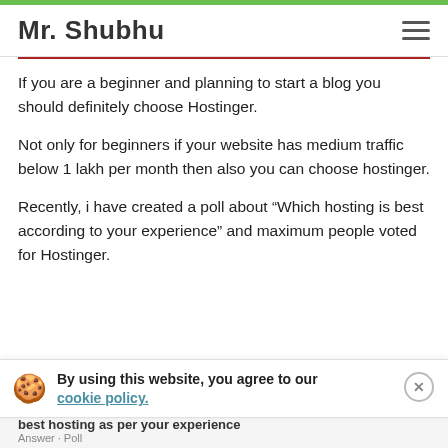Mr. Shubhu
If you are a beginner and planning to start a blog you should definitely choose Hostinger.
Not only for beginners if your website has medium traffic below 1 lakh per month then also you can choose hostinger.
Recently, i have created a poll about “Which hosting is best according to your experience” and maximum people voted for Hostinger.
By using this website, you agree to our cookie policy.
best hosting as per your experience